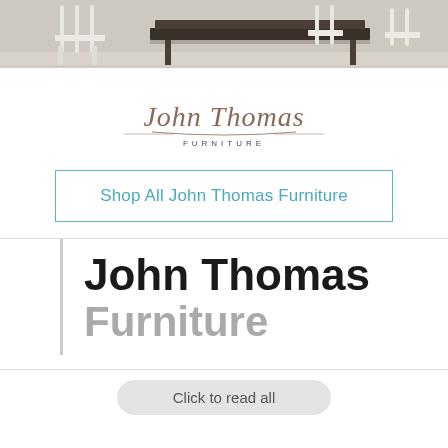[Figure (photo): Photo strip showing a dining table and white chairs in a room setting]
[Figure (logo): John Thomas Furniture logo in cursive/script font with 'FURNITURE' in small caps below]
Shop All John Thomas Furniture
John Thomas Furniture
Click to read all